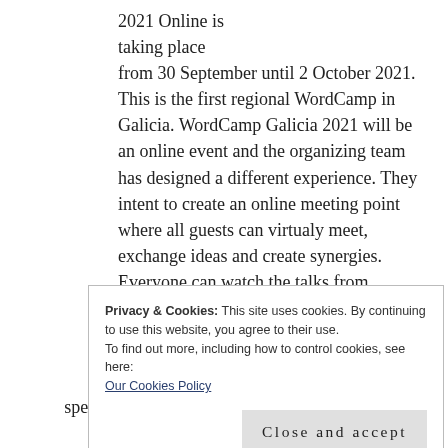2021 Online is taking place from 30 September until 2 October 2021. This is the first regional WordCamp in Galicia. WordCamp Galicia 2021 will be an online event and the organizing team has designed a different experience. They intent to create an online meeting point where all guests can virtualy meet, exchange ideas and create synergies. Everyone can watch the talks from YouTube, but if you choose to sign up (free ticket) you will have some extra benefits:
Privacy & Cookies: This site uses cookies. By continuing to use this website, you agree to their use.
To find out more, including how to control cookies, see here:
Our Cookies Policy

Close and accept
speakers, organizers and other attendees and